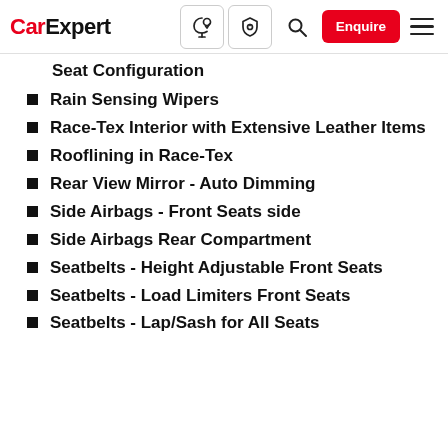CarExpert [nav icons: tree/rain, shield/lock, search, Enquire button, hamburger menu]
Seat Configuration
Rain Sensing Wipers
Race-Tex Interior with Extensive Leather Items
Rooflining in Race-Tex
Rear View Mirror - Auto Dimming
Side Airbags - Front Seats side
Side Airbags Rear Compartment
Seatbelts - Height Adjustable Front Seats
Seatbelts - Load Limiters Front Seats
Seatbelts - Lap/Sash for All Seats